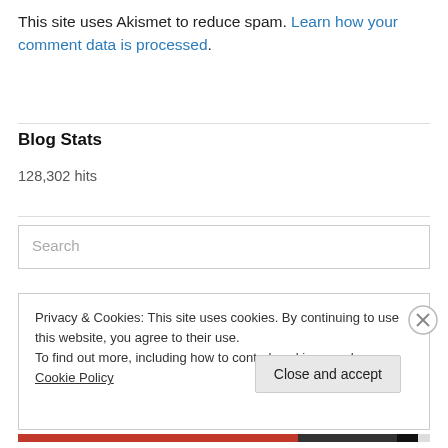This site uses Akismet to reduce spam. Learn how your comment data is processed.
Blog Stats
128,302 hits
Search
Privacy & Cookies: This site uses cookies. By continuing to use this website, you agree to their use.
To find out more, including how to control cookies, see here: Cookie Policy
Close and accept